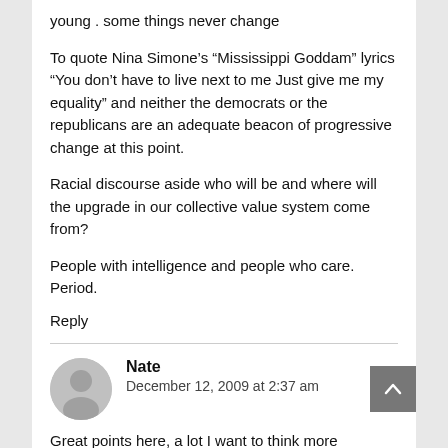young . some things never change
To quote Nina Simone’s “Mississippi Goddam” lyrics “You don’t have to live next to me Just give me my equality” and neither the democrats or the republicans are an adequate beacon of progressive change at this point.
Racial discourse aside who will be and where will the upgrade in our collective value system come from?
People with intelligence and people who care. Period.
Reply
Nate
December 12, 2009 at 2:37 am
Great points here, a lot I want to think more